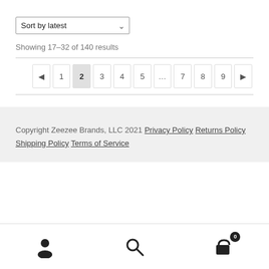Sort by latest
Showing 17–32 of 140 results
◄ 1 2 3 4 5 … 7 8 9 ►
Copyright Zeezee Brands, LLC 2021 Privacy Policy Returns Policy Shipping Policy Terms of Service